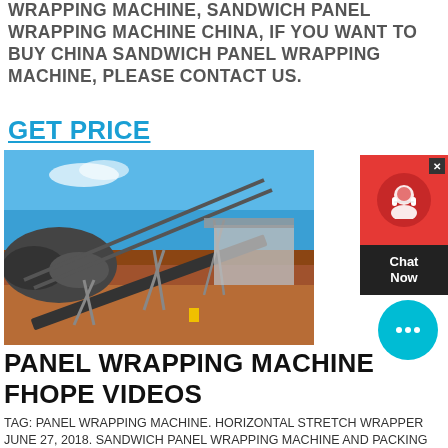WRAPPING MACHINE, SANDWICH PANEL WRAPPING MACHINE CHINA, IF YOU WANT TO BUY CHINA SANDWICH PANEL WRAPPING MACHINE, PLEASE CONTACT US.
GET PRICE
[Figure (photo): Outdoor industrial conveyor belt system on a mining or construction site with red/orange soil and blue sky background]
[Figure (other): Chat widget button with red background, headset icon, and 'Chat Now' text on dark panel]
[Figure (other): Cyan circular chat bubble button with ellipsis icon]
PANEL WRAPPING MACHINE FHOPE VIDEOS
TAG: PANEL WRAPPING MACHINE. HORIZONTAL STRETCH WRAPPER JUNE 27, 2018. SANDWICH PANEL WRAPPING MACHINE AND PACKING MACHINE HORIZONTAL STRETCH WRAPPER APRIL 13, 2018.